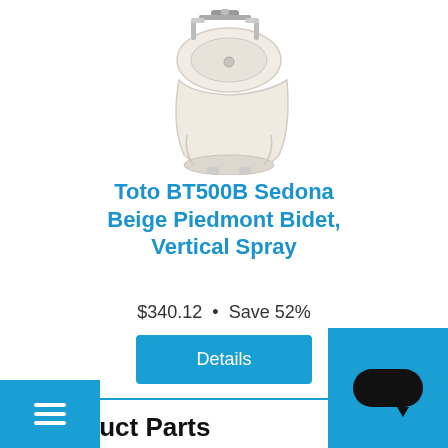[Figure (photo): Product photo of a beige Toto Piedmont bidet with chrome faucet, viewed from a 3/4 angle, against white background]
Toto BT500B Sedona Beige Piedmont Bidet, Vertical Spray
$340.12  •  Save 52%
Details
Product Parts